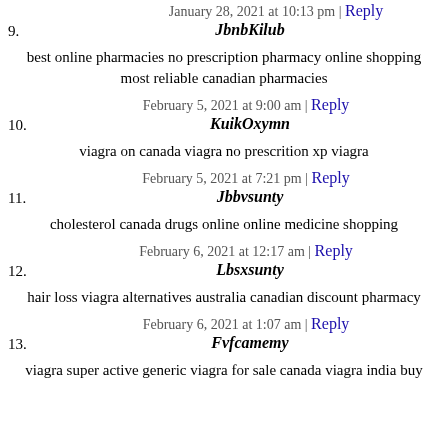January 28, 2021 at 10:13 pm | Reply
9. JbnbKilub
best online pharmacies no prescription pharmacy online shopping most reliable canadian pharmacies
February 5, 2021 at 9:00 am | Reply
10. KuikOxymn
viagra on canada viagra no prescrition xp viagra
February 5, 2021 at 7:21 pm | Reply
11. Jbbvsunty
cholesterol canada drugs online online medicine shopping
February 6, 2021 at 12:17 am | Reply
12. Lbsxsunty
hair loss viagra alternatives australia canadian discount pharmacy
February 6, 2021 at 1:07 am | Reply
13. Fvfcamemy
viagra super active generic viagra for sale canada viagra india buy